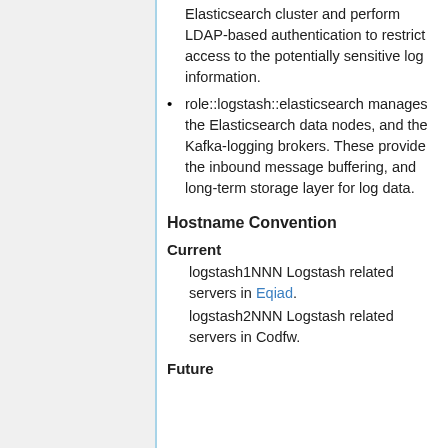Elasticsearch cluster and perform LDAP-based authentication to restrict access to the potentially sensitive log information.
role::logstash::elasticsearch manages the Elasticsearch data nodes, and the Kafka-logging brokers. These provide the inbound message buffering, and long-term storage layer for log data.
Hostname Convention
Current
logstash1NNN Logstash related servers in Eqiad.
logstash2NNN Logstash related servers in Codfw.
Future